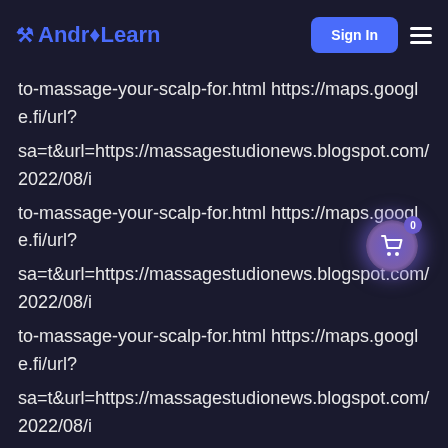AndroLearn — Sign In
to-massage-your-scalp-for.html https://maps.google.fi/url? sa=t&url=https://massagestudionews.blogspot.com/2022/08/i to-massage-your-scalp-for.html https://maps.google.fi/url? sa=t&url=https://massagestudionews.blogspot.com/2022/08/i to-massage-your-scalp-for.html https://maps.google.fi/url? sa=t&url=https://massagestudionews.blogspot.com/2022/08/i to-massage-your-scalp-for.html https://maps.google.es/url? sa=t&url=https://massagestudionews.blogspot.com/2022/08/i to-massage-your-scalp-for.html https://maps.google.ee/url? sa=t&url=https://massagestudionews.blogspot.com/2022/08/i to-massage-your-scalp-for.html https://maps.google.dz/url? sa=t&url=https://massagestudionews.blogspot.com/2022/08/i